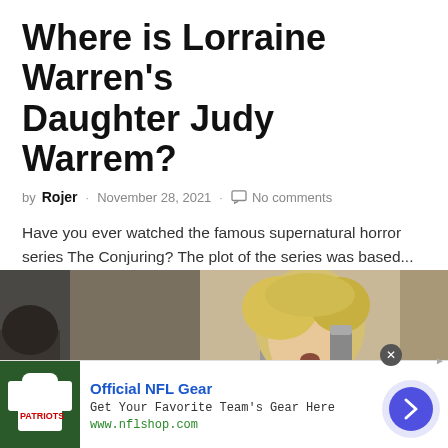Where is Lorraine Warren's Daughter Judy Warrem?
by Rojer · November 28, 2021 · No comments
Have you ever watched the famous supernatural horror series The Conjuring? The plot of the series was based...
P — PEOPLE
[Figure (photo): A young blonde child with mouth open, holding a cylindrical object, with other people in the background]
[Figure (other): Advertisement: Official NFL Gear - Get Your Favorite Team's Gear Here - www.nflshop.com]